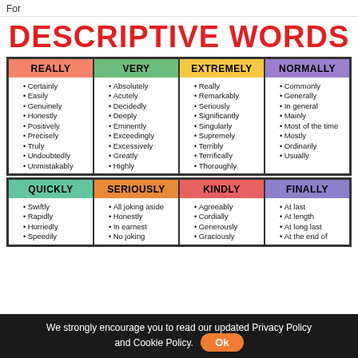For
DESCRIPTIVE WORDS
| REALLY | VERY | EXTREMELY | NORMALLY |
| --- | --- | --- | --- |
| Certainly | Absolutely | Really | Commonly |
| Easily | Acutely | Remarkably | Generally |
| Genuinely | Decidedly | Seriously | In general |
| Honestly | Deeply | Significantly | Mainly |
| Positively | Eminently | Singularly | Most of the time |
| Precisely | Exceedingly | Supremely | Mostly |
| Truly | Excessively | Terribly | Ordinarily |
| Undoubtedly | Greatly | Terrifically | Usually |
| Unmistakably | Highly | Thoroughly |  |
| QUICKLY | SERIOUSLY | KINDLY | FINALLY |
| --- | --- | --- | --- |
| Swiftly | All joking aside | Agreeably | At last |
| Rapidly | Honestly | Cordially | At length |
| Hurriedly | In earnest | Generously | At long last |
| Speedily | No joking | Graciously | At the end of |
We strongly encourage you to read our updated Privacy Policy and Cookie Policy. Ok